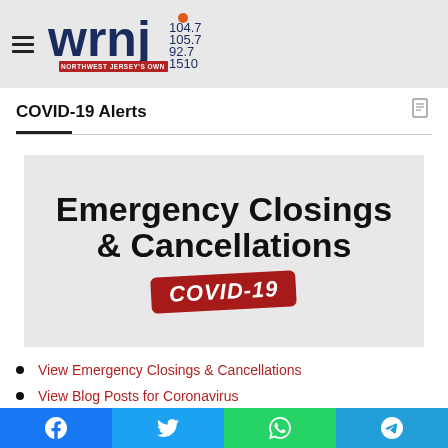WRNJ 104.7 105.7 92.7 1510 - Northwest Jersey's Own
COVID-19 Alerts
[Figure (other): Emergency Closings & Cancellations COVID-19 banner image with bold black text on light gray background and red COVID-19 badge]
View Emergency Closings & Cancellations
View Blog Posts for Coronavirus
Please Support Local Food Pantries